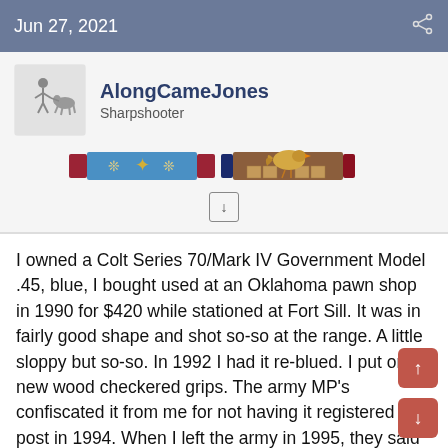Jun 27, 2021
AlongCameJones
Sharpshooter
[Figure (illustration): User avatar icon of a person with a horse and cart, plus two military medal ribbons: one blue with wheat/laurel design and red ends, one dark blue and brown with a bird/chicken figure on top.]
I owned a Colt Series 70/Mark IV Government Model .45, blue, I bought used at an Oklahoma pawn shop in 1990 for $420 while stationed at Fort Sill. It was in fairly good shape and shot so-so at the range. A little sloppy but so-so. In 1992 I had it re-blued. I put on new wood checkered grips. The army MP's confiscated it from me for not having it registered on post in 1994. When I left the army in 1995, they said they couldn't find it and said it probably got destroyed.

In 2000, I bought a post-war Colt Govt. Model .45, blue, from a